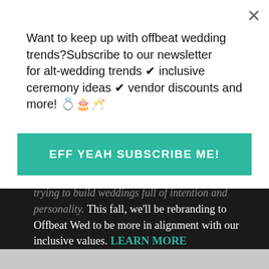Want to keep up with offbeat wedding trends?Subscribe to our newsletter for alt-wedding trends ✔ inclusive ceremony ideas ✔ vendor discounts and more! 💍🎂🥂
EFF YEAH SUBSCRIBE ME!
trying to build weddings full of intention and personality. This fall, we’ll be rebranding to Offbeat Wed to be more in alignment with our inclusive values. LEARN MORE
GET IN TOUCH
New Reader?
Submit
Advertise
Contact